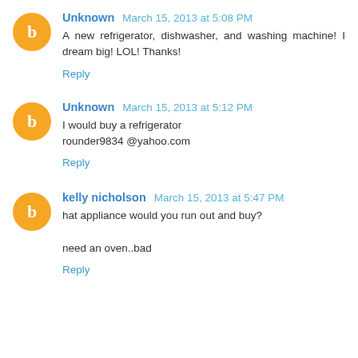Unknown March 15, 2013 at 5:08 PM
A new refrigerator, dishwasher, and washing machine! I dream big! LOL! Thanks!
Reply
Unknown March 15, 2013 at 5:12 PM
I would buy a refrigerator
rounder9834 @yahoo.com
Reply
kelly nicholson March 15, 2013 at 5:47 PM
hat appliance would you run out and buy?

need an oven..bad
Reply